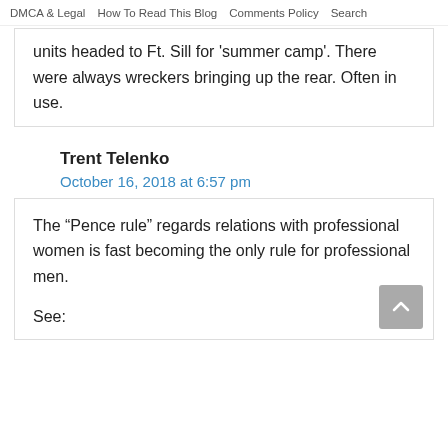DMCA & Legal   How To Read This Blog   Comments Policy   Search
units headed to Ft. Sill for 'summer camp'. There were always wreckers bringing up the rear. Often in use.
Trent Telenko
October 16, 2018 at 6:57 pm
The “Pence rule” regards relations with professional women is fast becoming the only rule for professional men.

See: